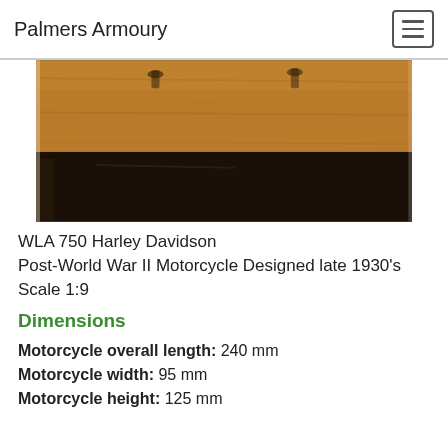Palmers Armoury
[Figure (photo): Close-up photo of a wooden display base/plinth with dark brown wood surface and black lower section, part of a display case for a model motorcycle]
WLA 750 Harley Davidson
Post-World War II Motorcycle Designed late 1930's
Scale 1:9
Dimensions
Motorcycle overall length: 240 mm
Motorcycle width: 95 mm
Motorcycle height: 125 mm